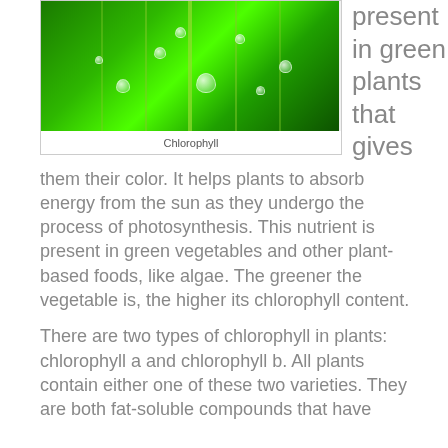[Figure (photo): Close-up photograph of a green leaf with water droplets and visible veins, glowing with bright green light]
Chlorophyll
present in green plants that gives them their color. It helps plants to absorb energy from the sun as they undergo the process of photosynthesis. This nutrient is present in green vegetables and other plant-based foods, like algae. The greener the vegetable is, the higher its chlorophyll content.
There are two types of chlorophyll in plants: chlorophyll a and chlorophyll b. All plants contain either one of these two varieties. They are both fat-soluble compounds that have